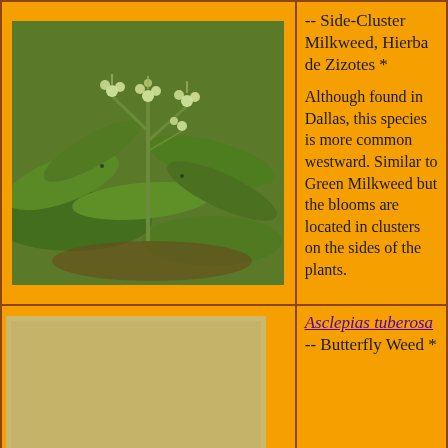[Figure (photo): Close-up photo of Asclepias oenotheroides plant showing green leaves and small white/green flower clusters on stems]
-- Side-Cluster Milkweed, Hierba de Zizotes *
Although found in Dallas, this species is more common westward. Similar to Green Milkweed but the blooms are located in clusters on the sides of the plants.
Asclepias tuberosa -- Butterfly Weed *